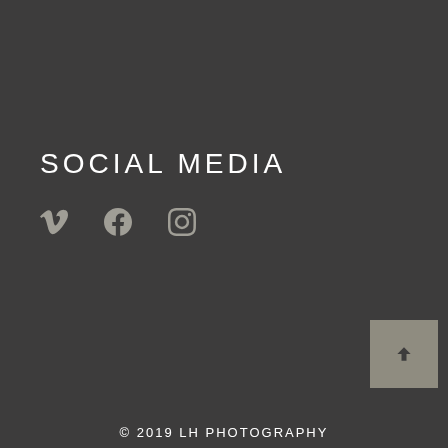SOCIAL MEDIA
[Figure (illustration): Social media icons: Vimeo (V), Facebook (f), and Instagram (camera square outline) arranged horizontally]
[Figure (illustration): Back to top button - grey square with upward chevron arrow]
© 2019 LH PHOTOGRAPHY
All Rights Reserved